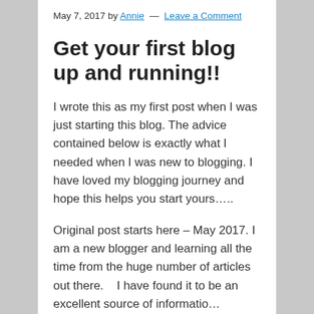May 7, 2017 by Annie — Leave a Comment
Get your first blog up and running!!
I wrote this as my first post when I was just starting this blog. The advice contained below is exactly what I needed when I was new to blogging. I have loved my blogging journey and hope this helps you start yours…..
Original post starts here – May 2017. I am a new blogger and learning all the time from the huge number of articles out there.    I have found it to be an excellent source of information…